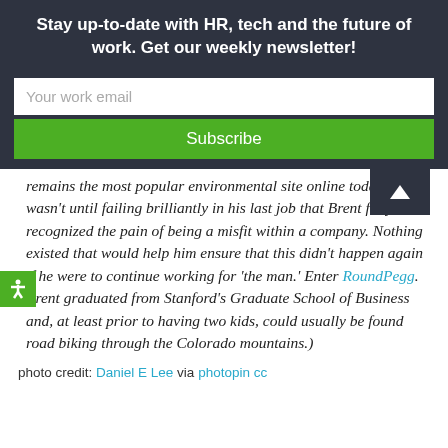Stay up-to-date with HR, tech and the future of work. Get our weekly newsletter!
Your work email
Subscribe
remains the most popular environmental site online today. It wasn't until failing brilliantly in his last job that Brent fully recognized the pain of being a misfit within a company. Nothing existed that would help him ensure that this didn't happen again if he were to continue working for 'the man.' Enter RoundPegg. Brent graduated from Stanford's Graduate School of Business and, at least prior to having two kids, could usually be found road biking through the Colorado mountains.)
photo credit: Daniel E Lee via photopin cc